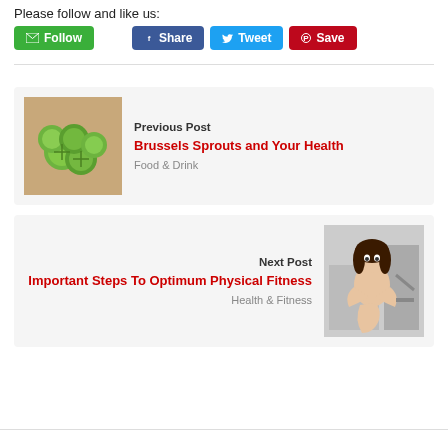Please follow and like us:
[Figure (other): Social sharing buttons: Follow (green), Share (Facebook blue), Tweet (Twitter blue), Save (Pinterest red)]
[Figure (other): Previous Post card with Brussels sprouts thumbnail image, title 'Brussels Sprouts and Your Health', category 'Food & Drink']
[Figure (other): Next Post card with fitness woman thumbnail image, title 'Important Steps To Optimum Physical Fitness', category 'Health & Fitness']